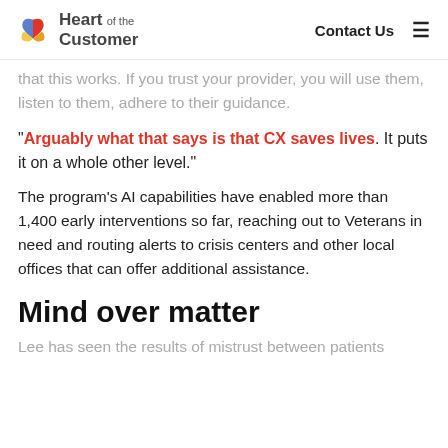Heart of the Customer | Contact Us
that this works. If you trust your provider, you will use them, listen to them, adhere to their guidance.
“Arguably what that says is that CX saves lives. It puts it on a whole other level.”
The program’s AI capabilities have enabled more than 1,400 early interventions so far, reaching out to Veterans in need and routing alerts to crisis centers and other local offices that can offer additional assistance.
Mind over matter
Lee has seen the results of mistrust between patients